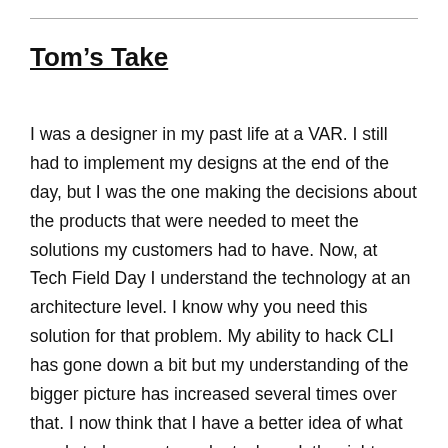Tom's Take
I was a designer in my past life at a VAR. I still had to implement my designs at the end of the day, but I was the one making the decisions about the products that were needed to meet the solutions my customers had to have. Now, at Tech Field Day I understand the technology at an architecture level. I know why you need this solution for that problem. My ability to hack CLI has gone down a bit but my understanding of the bigger picture has increased several times over that. I now think that I have a better idea of what needs to happen to make tech work the right way and be implemented easier when the architect's vision can solve the problems that allows the designers to